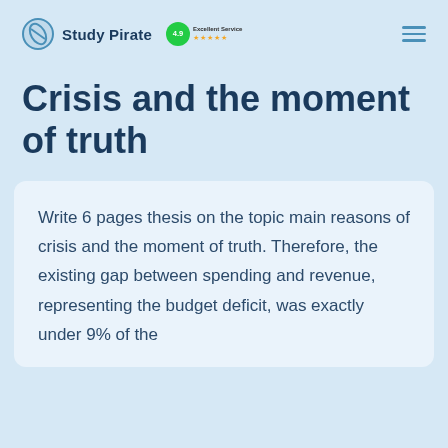Study Pirate 4.9 Excellent Service
Crisis and the moment of truth
Write 6 pages thesis on the topic main reasons of crisis and the moment of truth. Therefore, the existing gap between spending and revenue, representing the budget deficit, was exactly under 9% of the